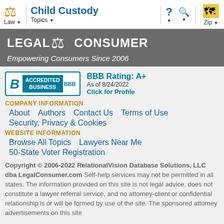Child Custody | Law | Topics | Zip
[Figure (logo): LegalConsumer logo with scales of justice icon and text 'LEGAL CONSUMER']
Empowering Consumers Since 2006
[Figure (logo): BBB Accredited Business badge with rating A+ as of 8/24/2022, Click for Profile]
COMPANY INFORMATION
About
Authors
Contact Us
Terms of Use
Security, Privacy & Cookies
WEBSITE INFORMATION
Browse All Topics
Lawyers Near Me
50-State Voter Registration
Copyright © 2006-2022 RelationalVision Database Solutions, LLC dba LegalConsumer.com Self-help services may not be permitted in all states. The information provided on this site is not legal advice, does not constitute a lawyer referral service, and no attorney-client or confidential relationship is or will be formed by use of the site. The sponsored attorney advertisements on this site